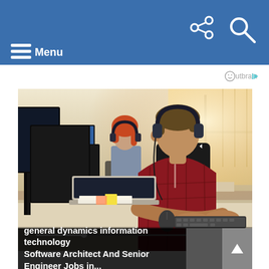Menu
Outbrain
[Figure (photo): Two office workers wearing headphones working at desktop computers in a modern open office environment. A man in a red plaid shirt in the foreground and a woman with red hair in the background. Media playback controls visible at bottom right of image.]
general dynamics information technology Software Architect And Senior Engineer Jobs in...